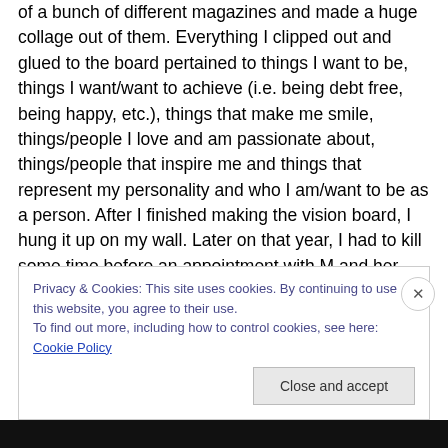of a bunch of different magazines and made a huge collage out of them. Everything I clipped out and glued to the board pertained to things I want to be, things I want/want to achieve (i.e. being debt free, being happy, etc.), things that make me smile, things/people I love and am passionate about, things/people that inspire me and things that represent my personality and who I am/want to be as a person. After I finished making the vision board, I hung it up on my wall. Later on that year, I had to kill some time before an appointment with M and her office is close to a mall, so I went window shopping. It was that day that I
Privacy & Cookies: This site uses cookies. By continuing to use this website, you agree to their use.
To find out more, including how to control cookies, see here: Cookie Policy